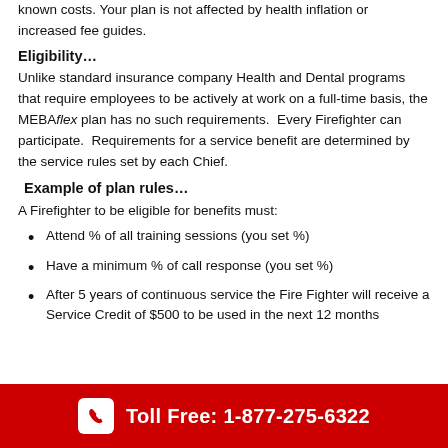known costs. Your plan is not affected by health inflation or increased fee guides.
Eligibility…
Unlike standard insurance company Health and Dental programs that require employees to be actively at work on a full-time basis, the MEBAflex plan has no such requirements. Every Firefighter can participate. Requirements for a service benefit are determined by the service rules set by each Chief.
Example of plan rules…
A Firefighter to be eligible for benefits must:
Attend % of all training sessions (you set %)
Have a minimum % of call response (you set %)
After 5 years of continuous service the Fire Fighter will receive a Service Credit of $500 to be used in the next 12 months
Toll Free: 1-877-275-6322